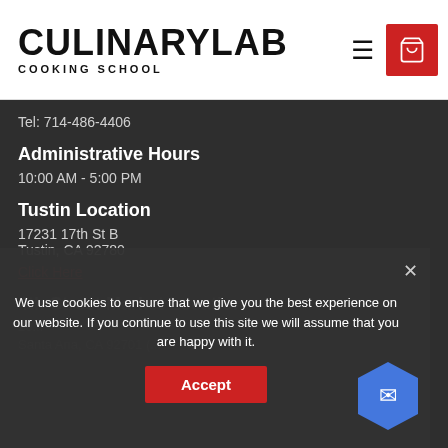CULINARYLAB COOKING SCHOOL
Tel: 714-486-4406
Administrative Hours
10:00 AM - 5:00 PM
Tustin Location
17231 17th St B
Tustin, CA 92780
Click Here
4th Street Market Location
20...
Santa Ana, CA 92701 (something)
We use cookies to ensure that we give you the best experience on our website. If you continue to use this site we will assume that you are happy with it.
Accept